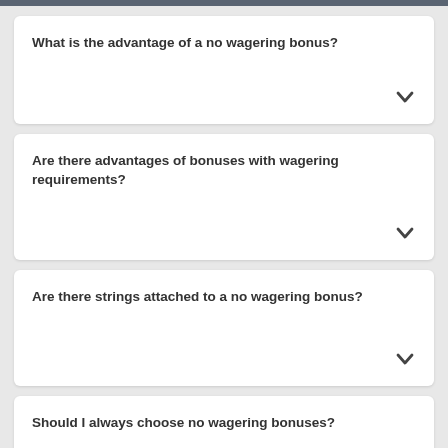What is the advantage of a no wagering bonus?
Are there advantages of bonuses with wagering requirements?
Are there strings attached to a no wagering bonus?
Should I always choose no wagering bonuses?